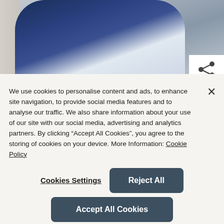[Figure (photo): A smiling man in a navy blue suit jacket with a white shirt, standing in front of a bookshelf. The photo is cropped showing his upper body. A share icon appears in the upper right corner of the image area.]
We use cookies to personalise content and ads, to enhance site navigation, to provide social media features and to analyse our traffic. We also share information about your use of our site with our social media, advertising and analytics partners. By clicking “Accept All Cookies”, you agree to the storing of cookies on your device. More Information: Cookie Policy
Cookies Settings
Reject All
Accept All Cookies